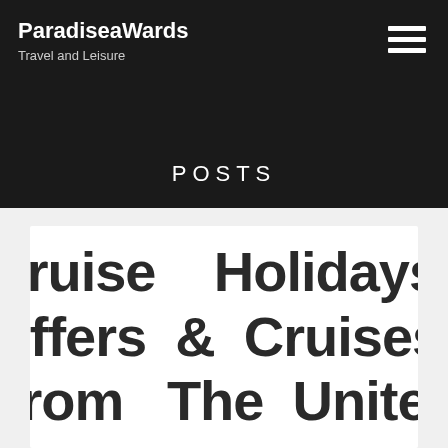ParadiseaWards — Travel and Leisure
POSTS
Cruise Offers From & The Holidays Cruises United